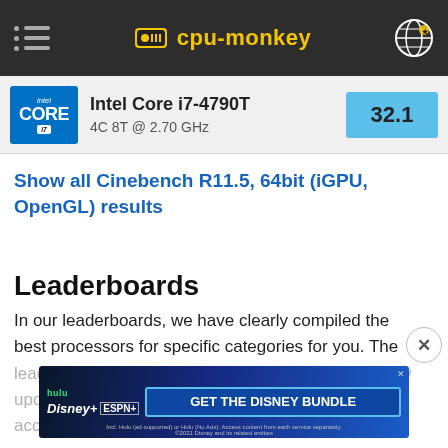cpu-monkey
Intel Core i7-4790T 4C 8T @ 2.70 GHz 32.1
Show all Cinebench R11.5, 64bit (iGPU, OpenGL) results
Leaderboards
In our leaderboards, we have clearly compiled the best processors for specific categories for you. The leaderboards are always up to date and are regularly updated and sorted according to popularity and speed in benchmarks as